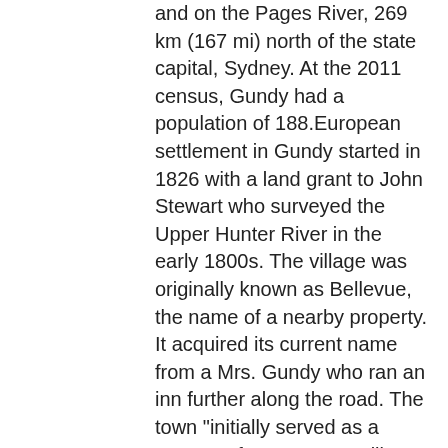and on the Pages River, 269 km (167 mi) north of the state capital, Sydney. At the 2011 census, Gundy had a population of 188.European settlement in Gundy started in 1826 with a land grant to John Stewart who surveyed the Upper Hunter River in the early 1800s. The village was originally known as Bellevue, the name of a nearby property. It acquired its current name from a Mrs. Gundy who ran an inn further along the road. The town "initially served as a stopover for teams travelling from Scone to stations located further up the Pages and Isis Rivers".The discovery of gold nearby saw Gundy develop as a service centre for miners with an inn and church constructed. By 1881 the village had a population of 60 and facilities included a school, post office and stores.The local pub—the Linga Longa Hotel—and the Gundy General Store are the only retail businesses in the village. The general store faced closure in September 2012 before being bought by new owners. An annual rodeo is held on New Year's Eve.